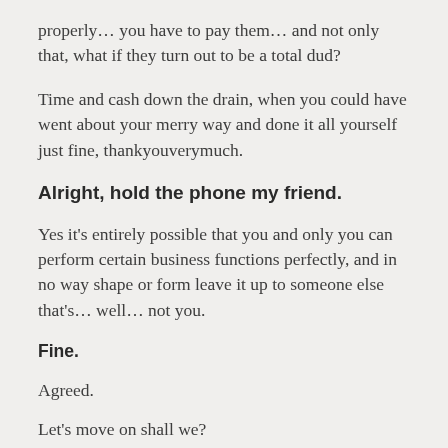properly… you have to pay them… and not only that, what if they turn out to be a total dud?
Time and cash down the drain, when you could have went about your merry way and done it all yourself just fine, thankyouverymuch.
Alright, hold the phone my friend.
Yes it's entirely possible that you and only you can perform certain business functions perfectly, and in no way shape or form leave it up to someone else that's… well… not you.
Fine.
Agreed.
Let's move on shall we?